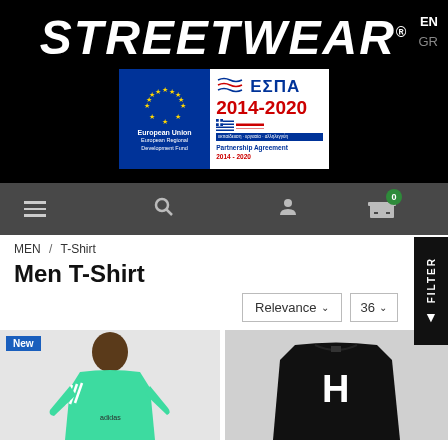STREETWEAR®
[Figure (logo): ΕΣΠΑ 2014-2020 European Union European Regional Development Fund Partnership Agreement 2014-2020 badge]
EN GR
[Figure (screenshot): Navigation bar with hamburger menu, search icon, user icon, and cart icon with badge 0]
MEN / T-Shirt
Men T-Shirt
Relevance ∨  36 ∨
[Figure (photo): Young man wearing a green Adidas t-shirt with three stripes, labeled New]
[Figure (photo): Black HUF t-shirt with large white H logo on chest]